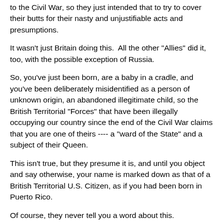to the Civil War, so they just intended that to try to cover their butts for their nasty and unjustifiable acts and presumptions.
It wasn't just Britain doing this.  All the other "Allies" did it, too, with the possible exception of Russia.
So, you've just been born, are a baby in a cradle, and you've been deliberately misidentified as a person of unknown origin, an abandoned illegitimate child, so the British Territorial "Forces" that have been illegally occupying our country since the end of the Civil War claims that you are one of theirs ---- a "ward of the State" and a subject of their Queen.
This isn't true, but they presume it is, and until you object and say otherwise, your name is marked down as that of a British Territorial U.S. Citizen, as if you had been born in Puerto Rico.
Of course, they never tell you a word about this.
Next, under the provisions of the Buck Act and the Miller Act